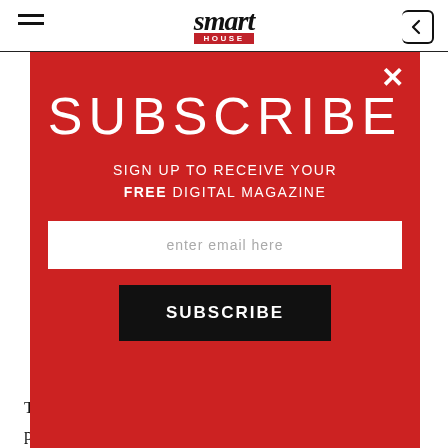smart HOUSE
SUBSCRIBE
SIGN UP TO RECEIVE YOUR FREE DIGITAL MAGAZINE
enter email here
SUBSCRIBE
Telstra is killing off its postpaid mobile plans, moving all postpaid customers to upfront payments over the